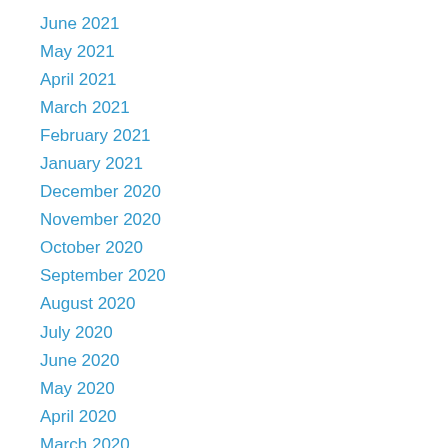June 2021
May 2021
April 2021
March 2021
February 2021
January 2021
December 2020
November 2020
October 2020
September 2020
August 2020
July 2020
June 2020
May 2020
April 2020
March 2020
February 2020
June 2019
May 2019
April 2019